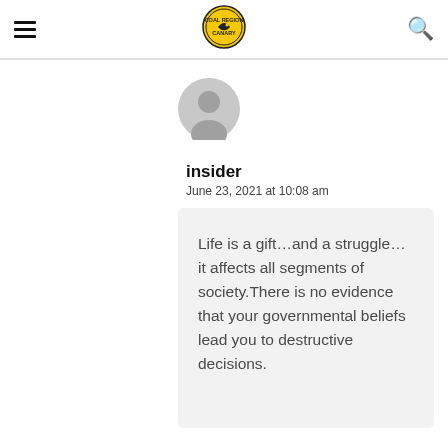[hamburger menu] [Coal Region Canary logo] [search icon]
[Figure (illustration): Generic grey user avatar icon (silhouette of person)]
insider
June 23, 2021 at 10:08 am
Life is a gift...and a struggle...it affects all segments of society.There is no evidence that your governmental beliefs lead you to destructive decisions.